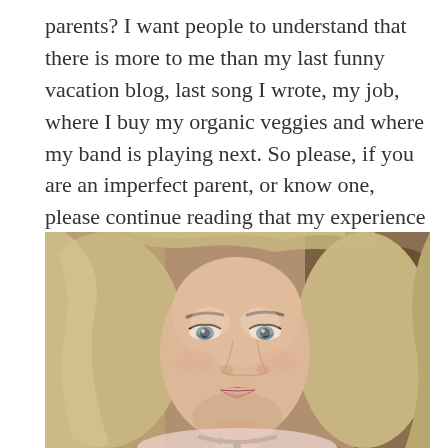parents? I want people to understand that there is more to me than my last funny vacation blog, last song I wrote, my job, where I buy my organic veggies and where my band is playing next. So please, if you are an imperfect parent, or know one, please continue reading that my experience won't be lost with my passing.
[Figure (photo): Close-up portrait photograph of a woman with long wavy blonde/highlighted hair, wearing a dark necklace and light pink top, with a serious expression, photographed outdoors with blurred tree bark visible in the background.]